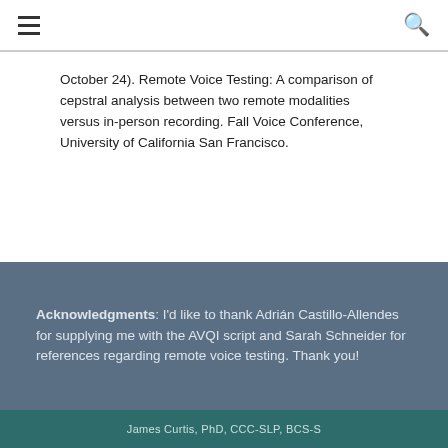≡  🔍
October 24). Remote Voice Testing: A comparison of cepstral analysis between two remote modalities versus in-person recording. Fall Voice Conference, University of California San Francisco.
Acknowledgments: I'd like to thank Adrián Castillo-Allendes for supplying me with the AVQI script and Sarah Schneider for references regarding remote voice testing. Thank you!
James Curtis, PhD, CCC-SLP, BCS-S